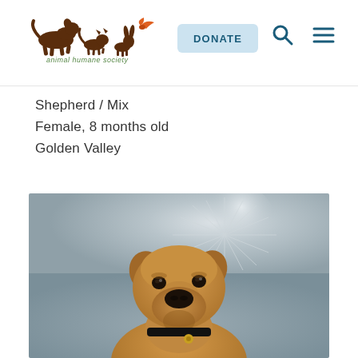animal humane society | DONATE
Shepherd / Mix
Female, 8 months old
Golden Valley
[Figure (photo): A tan/brown Shepherd mix puppy, approximately 8 months old, sitting and facing the camera against a metallic silver background. The dog has floppy ears, dark eyes, a black nose, and is wearing a black collar with a gold tag.]